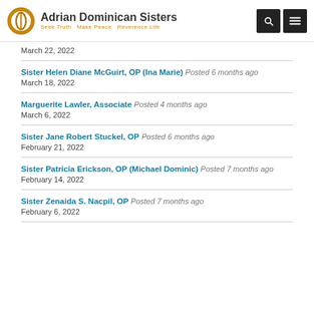Adrian Dominican Sisters – Seek Truth  Make Peace  Reverence Life
March 22, 2022
Sister Helen Diane McGuirt, OP (Ina Marie) Posted 6 months ago – March 18, 2022
Marguerite Lawler, Associate Posted 4 months ago – March 6, 2022
Sister Jane Robert Stuckel, OP Posted 6 months ago – February 21, 2022
Sister Patricia Erickson, OP (Michael Dominic) Posted 7 months ago – February 14, 2022
Sister Zenaida S. Nacpil, OP Posted 7 months ago – February 6, 2022